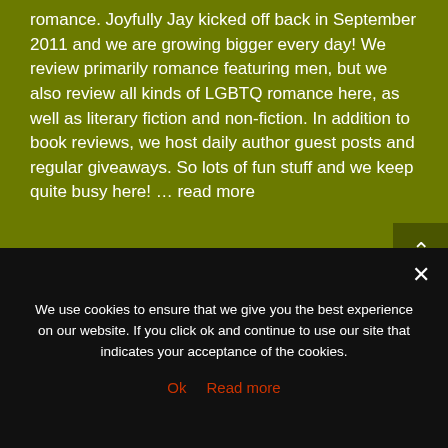romance. Joyfully Jay kicked off back in September 2011 and we are growing bigger every day! We review primarily romance featuring men, but we also review all kinds of LGBTQ romance here, as well as literary fiction and non-fiction. In addition to book reviews, we host daily author guest posts and regular giveaways. So lots of fun stuff and we keep quite busy here! … read more
Recent Posts
Review: Blood and Dirt by Corey Niles
Review: The Oracle's Flame by Mell Eight
We use cookies to ensure that we give you the best experience on our website. If you click ok and continue to use our site that indicates your acceptance of the cookies.
Ok   Read more